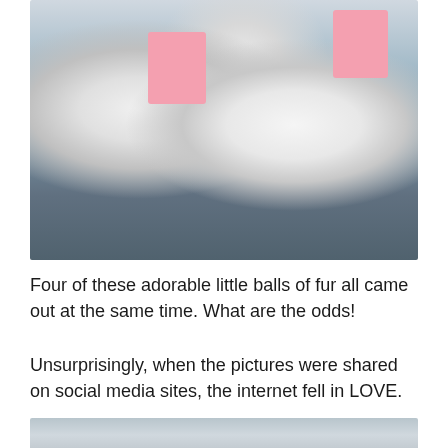[Figure (photo): White lion cubs on a blue foam puzzle mat floor. One cub faces the camera in the foreground, one faces away in the middle ground, and a third is visible in the background. Pink educational cards hang on the wall behind them. Colorful blanket visible on the right side.]
Four of these adorable little balls of fur all came out at the same time. What are the odds!
Unsurprisingly, when the pictures were shared on social media sites, the internet fell in LOVE.
[Figure (photo): Partial view of white lion cub, cropped at bottom of page.]